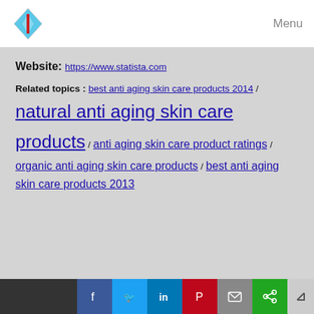Menu
Website: https://www.statista.com
Related topics : best anti aging skin care products 2014 / natural anti aging skin care products / anti aging skin care product ratings / organic anti aging skin care products / best anti aging skin care products 2013
Facebook Twitter LinkedIn Pinterest Mail Share